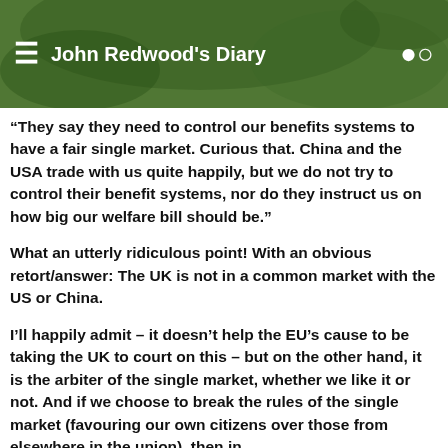John Redwood's Diary
“They say they need to control our benefits systems to have a fair single market. Curious that. China and the USA trade with us quite happily, but we do not try to control their benefit systems, nor do they instruct us on how big our welfare bill should be.”
What an utterly ridiculous point! With an obvious retort/answer: The UK is not in a common market with the US or China.
I’ll happily admit – it doesn’t help the EU’s cause to be taking the UK to court on this – but on the other hand, it is the arbiter of the single market, whether we like it or not. And if we choose to break the rules of the single market (favouring our own citizens over those from elsewhere in the union), then in